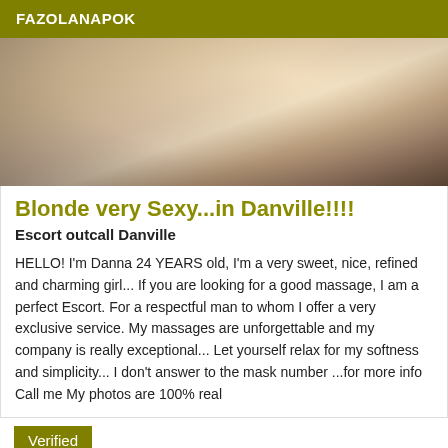FAZOLANAPOK
[Figure (photo): Partial photo of a woman]
Blonde very Sexy...in Danville!!!!
Escort outcall Danville
HELLO! I'm Danna 24 YEARS old, I'm a very sweet, nice, refined and charming girl... If you are looking for a good massage, I am a perfect Escort. For a respectful man to whom I offer a very exclusive service. My massages are unforgettable and my company is really exceptional... Let yourself relax for my softness and simplicity... I don't answer to the mask number ...for more info Call me My photos are 100% real
Verified